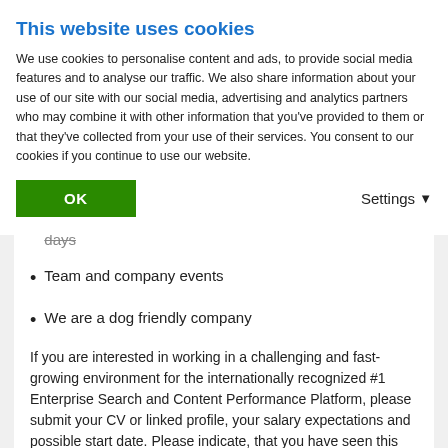This website uses cookies
We use cookies to personalise content and ads, to provide social media features and to analyse our traffic. We also share information about your use of our site with our social media, advertising and analytics partners who may combine it with other information that you've provided to them or that they've collected from your use of their services. You consent to our cookies if you continue to use our website.
Company breakfast, brown bag sessions and pizza days
Team and company events
We are a dog friendly company
If you are interested in working in a challenging and fast-growing environment for the internationally recognized #1 Enterprise Search and Content Performance Platform, please submit your CV or linked profile, your salary expectations and possible start date. Please indicate, that you have seen this job ad on feelgood@work.